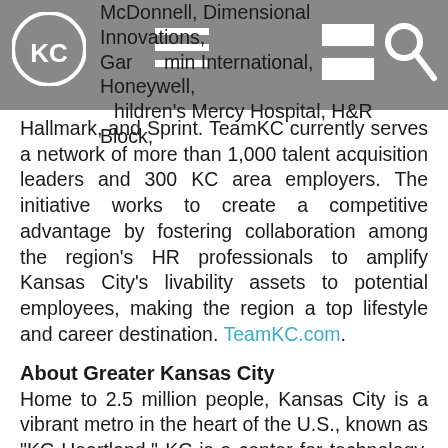McDonnell, Dimensional Innovations, Garmin International, Honeywell, Children's Mercy Hospital, H&R Block,
Hallmark, and Sprint. TeamKC currently serves a network of more than 1,000 talent acquisition leaders and 300 KC area employers. The initiative works to create a competitive advantage by fostering collaboration among the region's HR professionals to amplify Kansas City's livability assets to potential employees, making the region a top lifestyle and career destination. TeamKC.com.
About Greater Kansas City
Home to 2.5 million people, Kansas City is a vibrant metro in the heart of the U.S., known as "KC Heartland." KC is a center for technology, entrepreneurship and artistry, ranking first in the nation for its startup growth rate. Visit KC.org and follow @KCHeartland for more details.